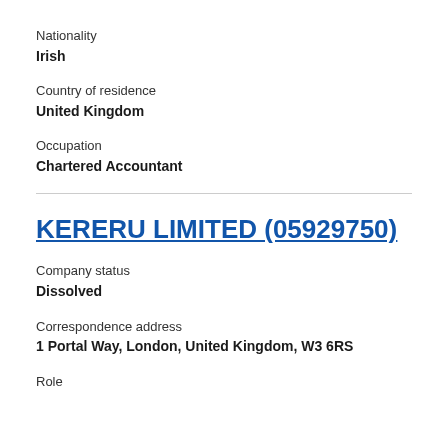Nationality
Irish
Country of residence
United Kingdom
Occupation
Chartered Accountant
KERERU LIMITED (05929750)
Company status
Dissolved
Correspondence address
1 Portal Way, London, United Kingdom, W3 6RS
Role